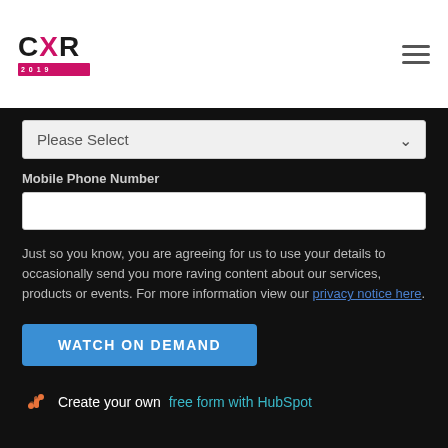CXR logo and hamburger menu
Please Select
Mobile Phone Number
Just so you know, you are agreeing for us to use your details to occasionally send you more raving content about our services, products or events. For more information view our privacy notice here.
WATCH ON DEMAND
Create your own free form with HubSpot